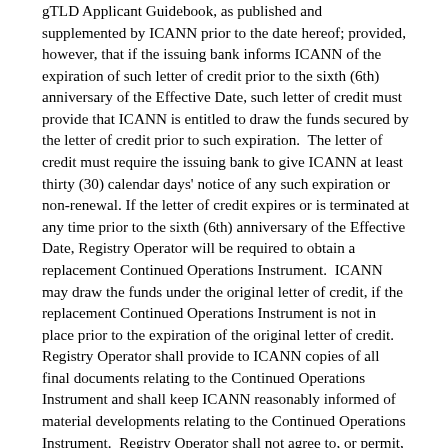gTLD Applicant Guidebook, as published and supplemented by ICANN prior to the date hereof; provided, however, that if the issuing bank informs ICANN of the expiration of such letter of credit prior to the sixth (6th) anniversary of the Effective Date, such letter of credit must provide that ICANN is entitled to draw the funds secured by the letter of credit prior to such expiration.  The letter of credit must require the issuing bank to give ICANN at least thirty (30) calendar days' notice of any such expiration or non-renewal. If the letter of credit expires or is terminated at any time prior to the sixth (6th) anniversary of the Effective Date, Registry Operator will be required to obtain a replacement Continued Operations Instrument.  ICANN may draw the funds under the original letter of credit, if the replacement Continued Operations Instrument is not in place prior to the expiration of the original letter of credit. Registry Operator shall provide to ICANN copies of all final documents relating to the Continued Operations Instrument and shall keep ICANN reasonably informed of material developments relating to the Continued Operations Instrument.  Registry Operator shall not agree to, or permit, any amendment of, or waiver under, the Continued Operations Instrument or other documentation relating thereto without the prior written consent of ICANN (such consent not to be unreasonably withheld).